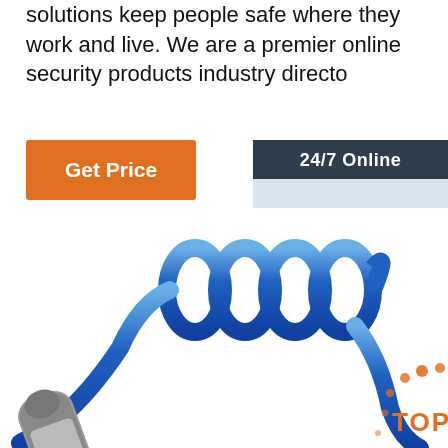solutions keep people safe where they work and live. We are a premier online security products industry directo
[Figure (other): Orange 'Get Price' button]
[Figure (other): Sidebar with '24/7 Online' header, female customer service agent with headset, 'Click here for free chat!' text, and orange 'QUOTATION' button]
[Figure (photo): Blue coiled telephone cord with phone handset at bottom left, and orange 'TOP' logo with dots at bottom right]